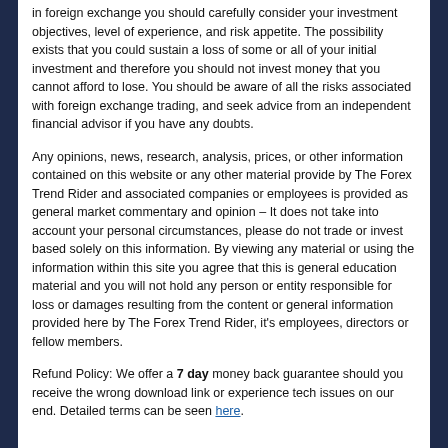in foreign exchange you should carefully consider your investment objectives, level of experience, and risk appetite. The possibility exists that you could sustain a loss of some or all of your initial investment and therefore you should not invest money that you cannot afford to lose. You should be aware of all the risks associated with foreign exchange trading, and seek advice from an independent financial advisor if you have any doubts.
Any opinions, news, research, analysis, prices, or other information contained on this website or any other material provide by The Forex Trend Rider and associated companies or employees is provided as general market commentary and opinion – It does not take into account your personal circumstances, please do not trade or invest based solely on this information. By viewing any material or using the information within this site you agree that this is general education material and you will not hold any person or entity responsible for loss or damages resulting from the content or general information provided here by The Forex Trend Rider, it's employees, directors or fellow members.
Refund Policy: We offer a 7 day money back guarantee should you receive the wrong download link or experience tech issues on our end. Detailed terms can be seen here.